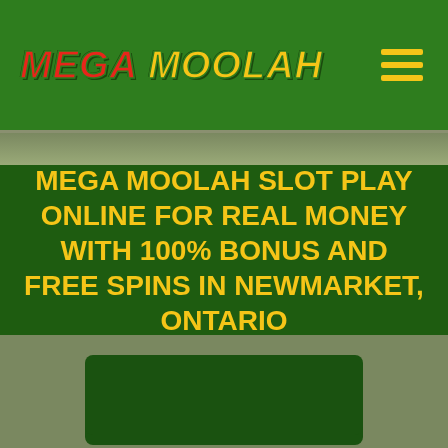MEGA MOOLAH
MEGA MOOLAH SLOT PLAY ONLINE FOR REAL MONEY WITH 100% BONUS AND FREE SPINS IN NEWMARKET, ONTARIO
Play Mega Mool...